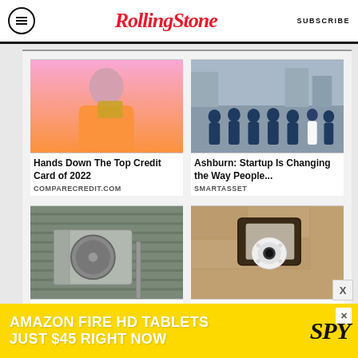RollingStone  SUBSCRIBE
[Figure (photo): Woman with pink background holding a credit card]
Hands Down The Top Credit Card of 2022
COMPARECREDIT.COM
[Figure (photo): Group of people in navy t-shirts standing together on a cobblestone street]
Ashburn: Startup Is Changing the Way People...
SMARTASSET
[Figure (photo): HVAC air conditioning unit mounted on exterior wall]
[Figure (photo): Security camera in a light fixture mounted on stone wall]
[Figure (infographic): Amazon Fire HD Tablets advertisement - Just $45 Right Now - SPY logo]